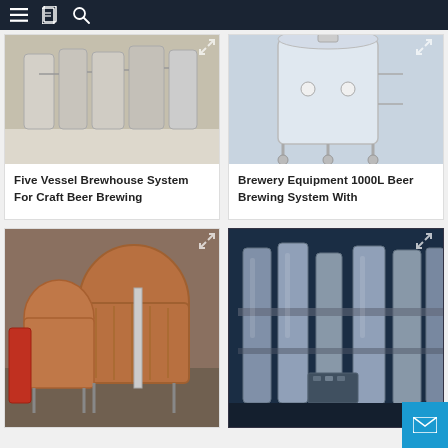Navigation bar with menu, catalog, and search icons
[Figure (photo): Five vessel brewhouse system showing stainless steel tanks and piping in an industrial brewery setting]
Five Vessel Brewhouse System For Craft Beer Brewing
[Figure (photo): Brewery Equipment 1000L Beer Brewing System With stainless steel fermentation tanks]
Brewery Equipment 1000L Beer Brewing System With
[Figure (photo): Copper and stainless steel brewing tanks in a large industrial brewery facility]
[Figure (photo): Stainless steel beer brewing system with multiple tanks and piping on dark background]